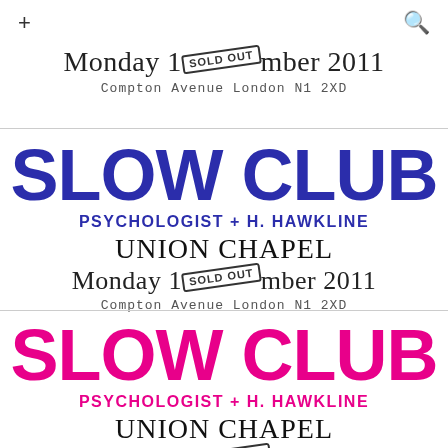+ (search icon)
Monday 1[SOLD OUT]mber 2011
Compton Avenue London N1 2XD
SLOW CLUB
PSYCHOLOGIST + H. HAWKLINE
UNION CHAPEL
Monday 1[SOLD OUT]mber 2011
Compton Avenue London N1 2XD
SLOW CLUB
PSYCHOLOGIST + H. HAWKLINE
UNION CHAPEL
Monday 10[SOLD OUT]ber 2011